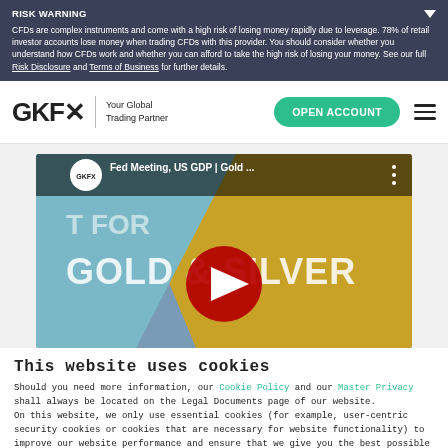RISK WARNING
CFDs are complex instruments and come with a high risk of losing money rapidly due to leverage. 78% of retail investor accounts lose money when trading CFDs with this provider. You should consider whether you understand how CFDs work and whether you can afford to take the high risk of losing your money. See our full Risk Disclosure and Terms of Business for further details.
[Figure (logo): GKFX logo with tagline 'Your Global Trading Partner' and navigation bar with green 'OPEN ACCOUNT' button and hamburger menu]
[Figure (screenshot): YouTube video thumbnail for GKFX video about Fed Meeting, US GDP, Gold & Silver with red play button and man giving thumbs up]
This website uses cookies
Should you need more information, our Cookie Policy and our Master Privacy shall always be located on the Legal Documents page of our website.
On this website, we only use essential cookies (for example, user-centric security cookies or cookies that are necessary for website functionality) to improve our website performance and ensure that we give you the best possible browsing experience. Please read our Cookie Policy to find out more about cookies, why and how we use them as